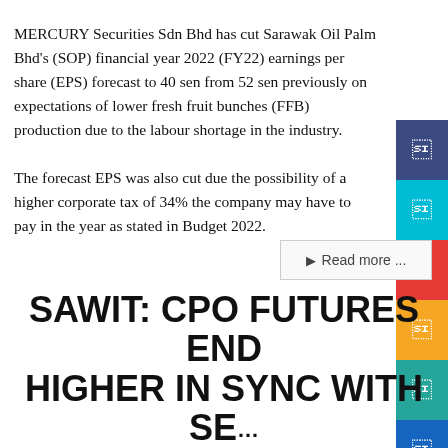MERCURY Securities Sdn Bhd has cut Sarawak Oil Palm Bhd's (SOP) financial year 2022 (FY22) earnings per share (EPS) forecast to 40 sen from 52 sen previously on expectations of lower fresh fruit bunches (FFB) production due to the labour shortage in the industry.
The forecast EPS was also cut due the possibility of a higher corporate tax of 34% the company may have to pay in the year as stated in Budget 2022.
SAWIT: CPO FUTURES END HIGHER IN SYNC WITH SE...